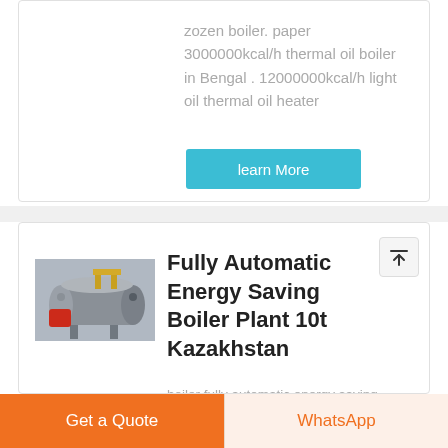zozen boiler. paper 3000000kcal/h thermal oil boiler in Bengal . 12000000kcal/h light oil thermal oil heater
learn More
[Figure (photo): Industrial boiler plant with horizontal cylindrical boiler, red burner, and yellow pipe fittings in a factory setting]
Fully Automatic Energy Saving Boiler Plant 10t Kazakhstan
boiler fully automatic energy saving 20t kuwait Energy Saving 8t Biomass
Get a Quote
WhatsApp